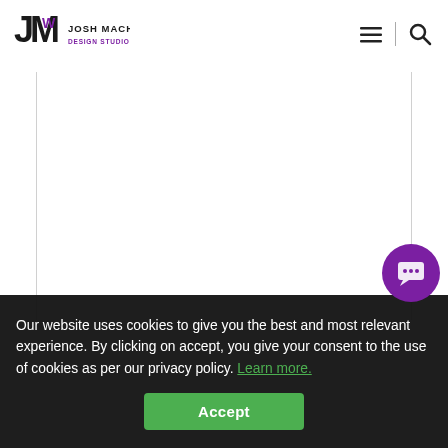[Figure (logo): Josh Machines Design Studio Pvt Ltd logo — stylized JM letters in black with purple/blue accent, company name below]
[Figure (other): Hamburger menu icon (three horizontal lines) followed by vertical divider and magnifying glass search icon, in top right of navbar]
Our website uses cookies to give you the best and most relevant experience. By clicking on accept, you give your consent to the use of cookies as per our privacy policy. Learn more.
Accept